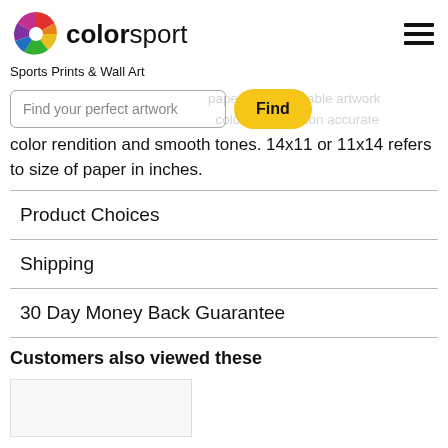colorsport - Sports Prints & Wall Art
paper for unbeatable artwork color reproduction accurate color rendition and smooth tones. 14x11 or 11x14 refers to size of paper in inches.
Product Choices
Shipping
30 Day Money Back Guarantee
Customers also viewed these
[Figure (photo): Partial product thumbnail image at bottom of page]